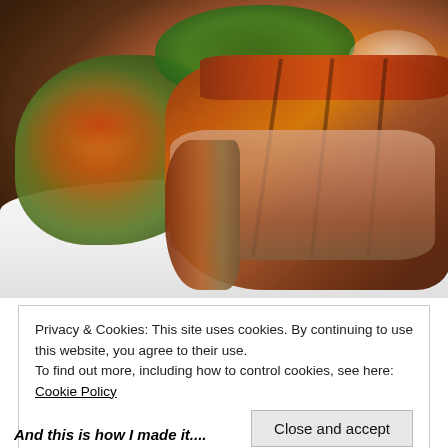[Figure (photo): A plate of sliced roasted duck breast served alongside a colorful vegetable salad with shredded carrots, greens, and chili, with a white sauce, photographed from above on a white plate.]
Privacy & Cookies: This site uses cookies. By continuing to use this website, you agree to their use.
To find out more, including how to control cookies, see here: Cookie Policy
Close and accept
And this is how I made it....